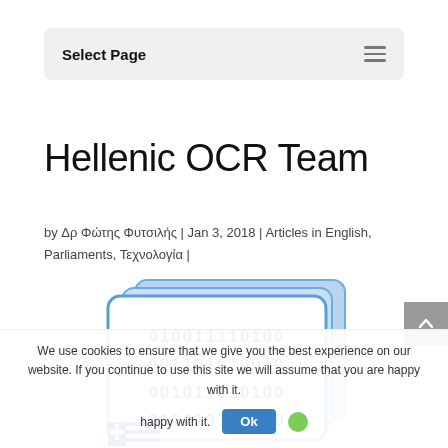Select Page
Hellenic OCR Team
by Δρ Φώτης Φυτσιλής | Jan 3, 2018 | Articles in English, Parliaments, Τεχνολογία |
[Figure (illustration): Illustration of stacked cards with binary code (010011110100, 001101010010, 001011010100, 001010100110) and a Greek flag icon at the bottom, representing OCR/digital document processing.]
We use cookies to ensure that we give you the best experience on our website. If you continue to use this site we will assume that you are happy with it.